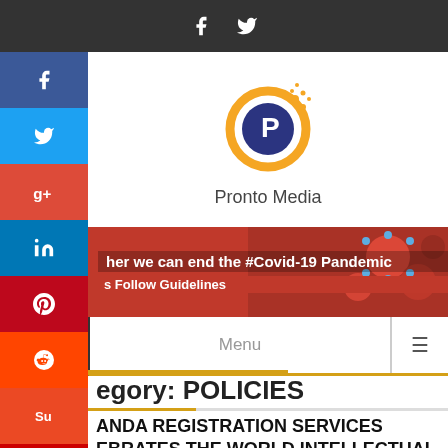[Figure (logo): Top dark bar with Facebook and Twitter icons]
[Figure (logo): Pronto Media logo with circular orange and navy P icon and dots]
[Figure (other): Covid-19 pandemic awareness banner with red background and virus imagery. Text: 'her we can end the #Covid-19 Pandemic' and 's Follow Guidelines']
[Figure (screenshot): Social media sidebar with Facebook, Twitter, Google+, LinkedIn, Pinterest, Reddit, StumbleUpon, YouTube buttons]
Menu
egory: POLICIES
ANDA REGISTRATION SERVICES EBRATES THE WORLD INTELLECTUAL HERTY DAY